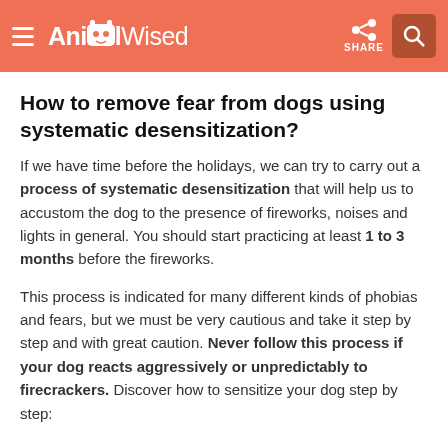AnimalWised
How to remove fear from dogs using systematic desensitization?
If we have time before the holidays, we can try to carry out a process of systematic desensitization that will help us to accustom the dog to the presence of fireworks, noises and lights in general. You should start practicing at least 1 to 3 months before the fireworks.
This process is indicated for many different kinds of phobias and fears, but we must be very cautious and take it step by step and with great caution. Never follow this process if your dog reacts aggressively or unpredictably to firecrackers. Discover how to sensitize your dog step by step: